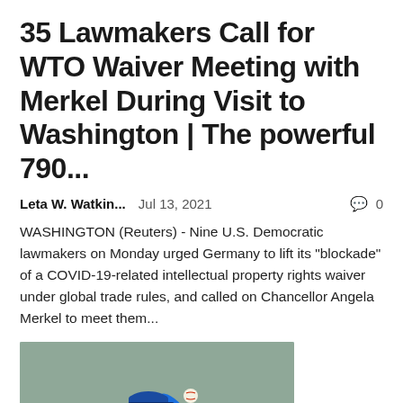35 Lawmakers Call for WTO Waiver Meeting with Merkel During Visit to Washington | The powerful 790...
Leta W. Watkin...   Jul 13, 2021   🗨 0
WASHINGTON (Reuters) - Nine U.S. Democratic lawmakers on Monday urged Germany to lift its "blockade" of a COVID-19-related intellectual property rights waiver under global trade rules, and called on Chancellor Angela Merkel to meet them...
[Figure (photo): Baseball pitcher in blue Dodgers uniform number 33, winding up to throw a pitch]
[cut-off text continues below]